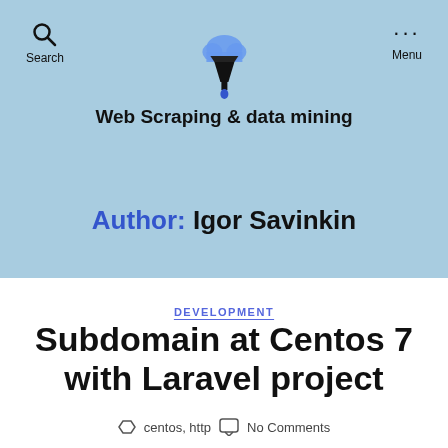Web Scraping & data mining
Author: Igor Savinkin
DEVELOPMENT
Subdomain at Centos 7 with Laravel project
centos, http   No Comments